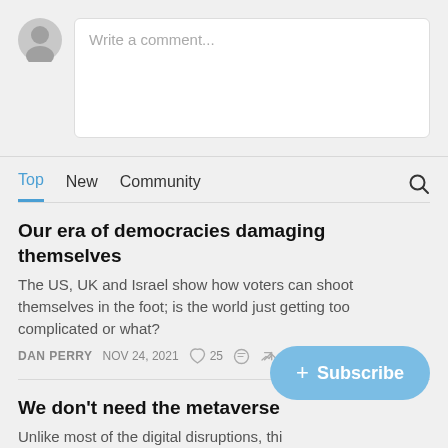[Figure (other): Comment input area with grey avatar icon on the left and a white rounded comment text box with placeholder text 'Write a comment...']
Top   New   Community
Our era of democracies damaging themselves
The US, UK and Israel show how voters can shoot themselves in the foot; is the world just getting too complicated or what?
DAN PERRY   NOV 24, 2021   ♡ 25
We don't need the metaverse
Unlike most of the digital disruptions, thi…
DAN PERRY   NOV 14, 2021   ♡ 22
+ Subscribe